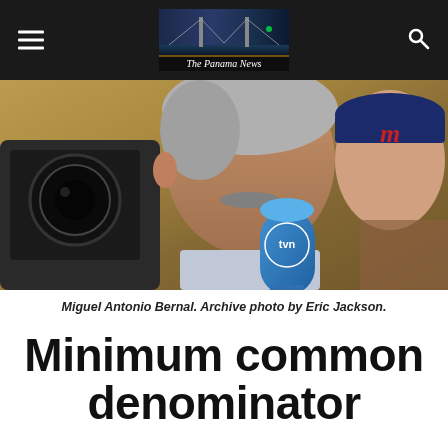The Panama News
[Figure (photo): Miguel Antonio Bernal speaking into a TVN microphone, with a camera operator nearby and a person wearing a red and navy baseball cap in the background.]
Miguel Antonio Bernal. Archive photo by Eric Jackson.
Minimum common denominator